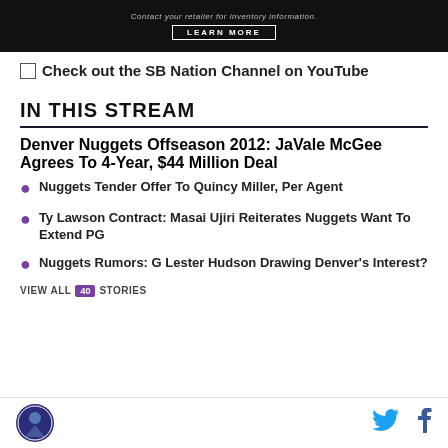[Figure (other): Black banner with text 'Contact your retailer for inventory information.' and a LEARN MORE button]
[Figure (other): Check out the SB Nation Channel on YouTube - image link with broken image placeholder]
IN THIS STREAM
Denver Nuggets Offseason 2012: JaVale McGee Agrees To 4-Year, $44 Million Deal
Nuggets Tender Offer To Quincy Miller, Per Agent
Ty Lawson Contract: Masai Ujiri Reiterates Nuggets Want To Extend PG
Nuggets Rumors: G Lester Hudson Drawing Denver's Interest?
VIEW ALL 40 STORIES
Logo, Twitter icon, Facebook icon